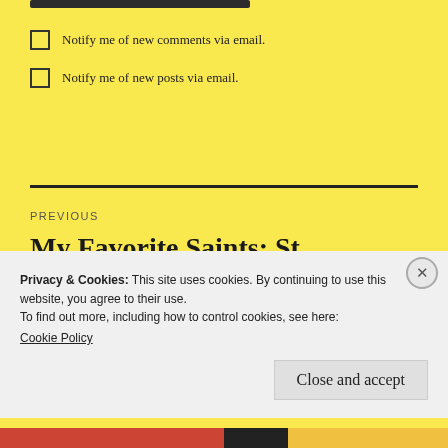Notify me of new comments via email.
Notify me of new posts via email.
PREVIOUS
My Favorite Saints: St. Francis of Assisi
Privacy & Cookies: This site uses cookies. By continuing to use this website, you agree to their use.
To find out more, including how to control cookies, see here: Cookie Policy
Close and accept